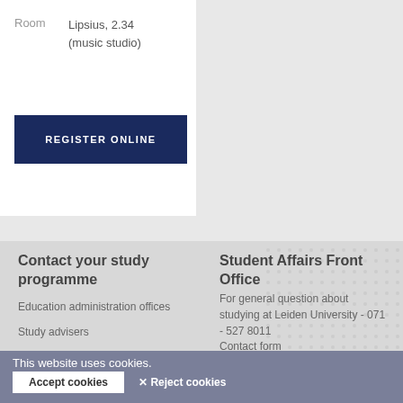Room  Lipsius, 2.34 (music studio)
REGISTER ONLINE
Contact your study programme
Education administration offices
Study advisers
Student Affairs Front Office
For general question about studying at Leiden University - 071 - 527 8011
Contact form
Frequently asked questions
Practical
Connect with us
This website uses cookies.
Accept cookies
✕ Reject cookies